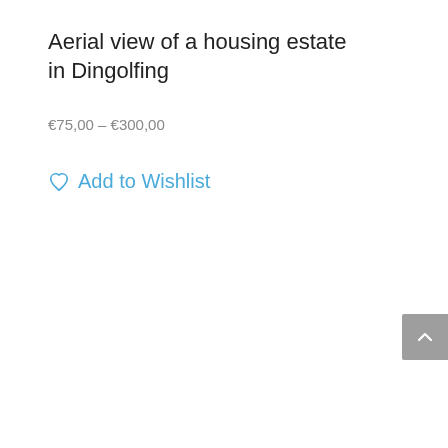Aerial view of a housing estate in Dingolfing
€75,00 – €300,00
Add to Wishlist